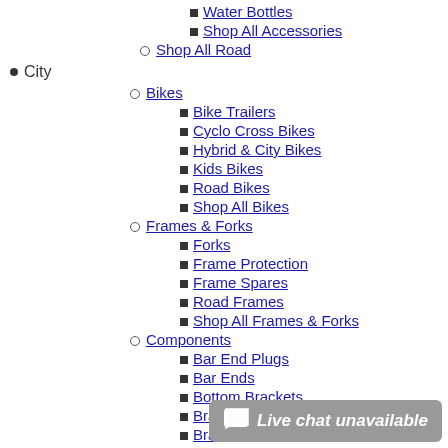Water Bottles
Shop All Accessories
Shop All Road
City
Bikes
Bike Trailers
Cyclo Cross Bikes
Hybrid & City Bikes
Kids Bikes
Road Bikes
Shop All Bikes
Frames & Forks
Forks
Frame Protection
Frame Spares
Road Frames
Shop All Frames & Forks
Components
Bar End Plugs
Bar Ends
Bottom Brackets
Brake Cables
Brake Levers
Brake Pads
Brakes
Brake Spares
Cassettes
Chain Guides
Chainring Bolts
Chainrings
Chains
Chain Tugs